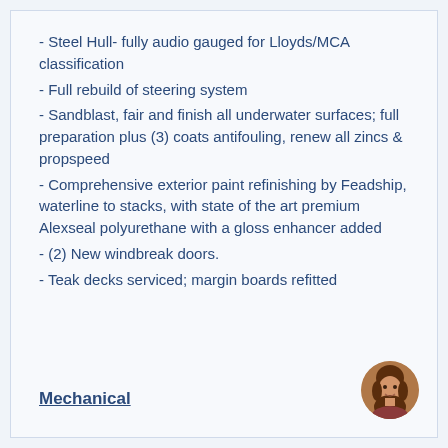- Steel Hull- fully audio gauged for Lloyds/MCA classification
- Full rebuild of steering system
- Sandblast, fair and finish all underwater surfaces; full preparation plus (3) coats antifouling, renew all zincs & propspeed
- Comprehensive exterior paint refinishing by Feadship, waterline to stacks, with state of the art premium Alexseal polyurethane with a gloss enhancer added
- (2) New windbreak doors.
- Teak decks serviced; margin boards refitted
Mechanical